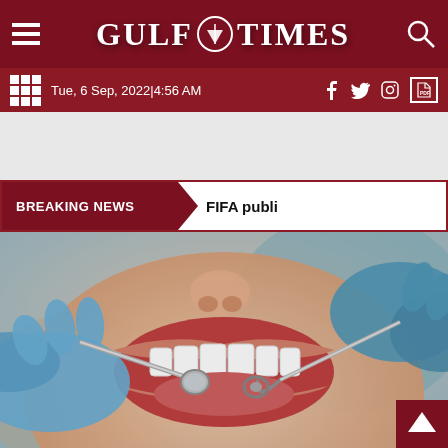GULF TIMES
Tue, 6 Sep, 2022|4:56 AM
BREAKING NEWS   FIFA publi
[Figure (photo): Close-up photo of a dental examination: a patient with open mouth being examined by a dentist using dental tools, with blue gloved hands visible on both sides holding a mirror and explorer instrument.]